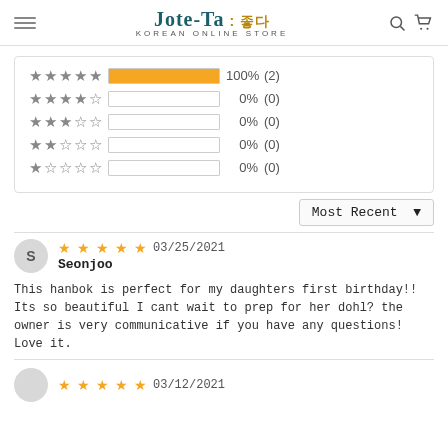[Figure (logo): Jote-Ta Korean Online Store logo with hamburger menu, search icon, and cart icon]
[Figure (bar-chart): Star rating distribution]
Most Recent
03/25/2021
Seonjoo
This hanbok is perfect for my daughters first birthday!! Its so beautiful I cant wait to prep for her dohl? the owner is very communicative if you have any questions! Love it.
03/12/2021